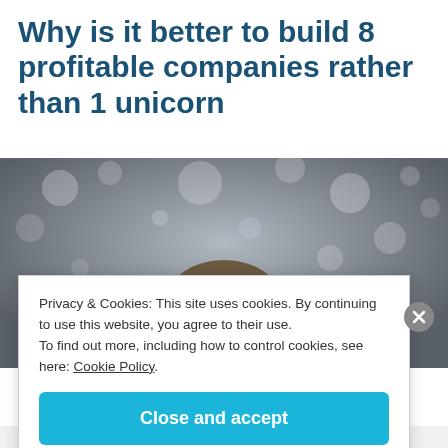Why is it better to build 8 profitable companies rather than 1 unicorn
[Figure (photo): Partial photo of a person's head against a blurred bokeh background with light spots]
Privacy & Cookies: This site uses cookies. By continuing to use this website, you agree to their use.
To find out more, including how to control cookies, see here: Cookie Policy
Close and accept